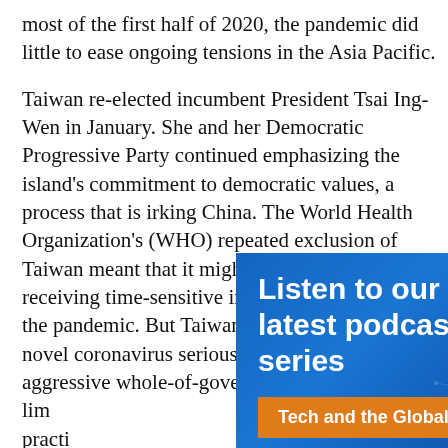most of the first half of 2020, the pandemic did little to ease ongoing tensions in the Asia Pacific.
Taiwan re-elected incumbent President Tsai Ing-Wen in January. She and her Democratic Progressive Party continued emphasizing the island's commitment to democratic values, a process that is irking China. The World Health Organization's (WHO) repeated exclusion of Taiwan meant that it might have missed out on receiving time-sensitive information regarding the pandemic. But Taiwan took the news of the novel coronavirus seriously. It initiated early and aggressive whole-of-government actions to lim[ited] popu[lation] practi[ces]
[Figure (infographic): Blue banner overlay with text 'Listen to our latest podcast series' and orange pill button 'Tech and the Global South', with a cursor/click icon and network graphic background.]
Nor d[id] Chin[a]